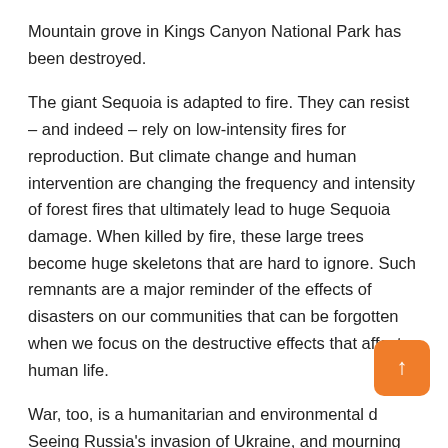Mountain grove in Kings Canyon National Park has been destroyed.
The giant Sequoia is adapted to fire. They can resist – and indeed – rely on low-intensity fires for reproduction. But climate change and human intervention are changing the frequency and intensity of forest fires that ultimately lead to huge Sequoia damage. When killed by fire, these large trees become huge skeletons that are hard to ignore. Such remnants are a major reminder of the effects of disasters on our communities that can be forgotten when we focus on the destructive effects that affect human life.
War, too, is a humanitarian and environmental d... Seeing Russia's invasion of Ukraine, and mourning